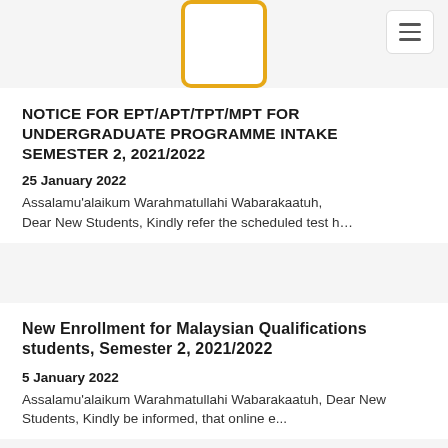NOTICE FOR EPT/APT/TPT/MPT FOR UNDERGRADUATE PROGRAMME INTAKE SEMESTER 2, 2021/2022
25 January 2022
Assalamu'alaikum Warahmatullahi Wabarakaatuh, Dear New Students, Kindly refer the scheduled test h...
New Enrollment for Malaysian Qualifications students, Semester 2, 2021/2022
5 January 2022
Assalamu'alaikum Warahmatullahi Wabarakaatuh, Dear New Students, Kindly be informed, that online e...